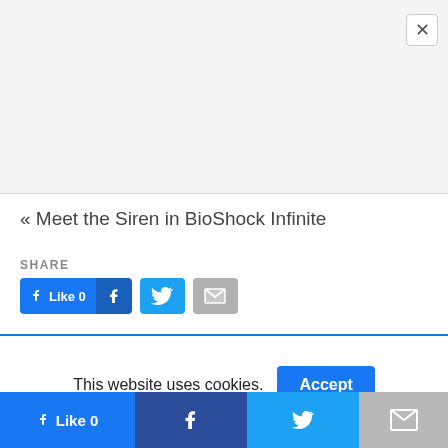[Figure (screenshot): Close button (X) in top right corner of a modal/popup overlay area, with light gray background]
« Meet the Siren in BioShock Infinite
SHARE
[Figure (screenshot): Social share buttons row: Facebook Like button (blue, thumbs up, Like 0), Facebook icon box, Twitter bird icon button, Gmail M icon button]
This website uses cookies.
[Figure (screenshot): Accept button (blue) for cookie consent]
[Figure (screenshot): Bottom sticky bar with social share buttons: Like 0 (Facebook blue), Facebook dark blue, Twitter blue, Gmail gray]